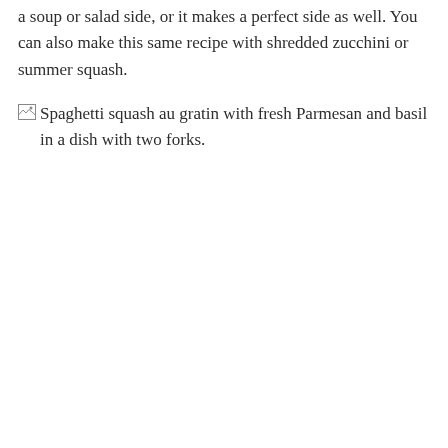a soup or salad side, or it makes a perfect side as well. You can also make this same recipe with shredded zucchini or summer squash.
[Figure (photo): Broken image placeholder with alt text: Spaghetti squash au gratin with fresh Parmesan and basil in a dish with two forks.]